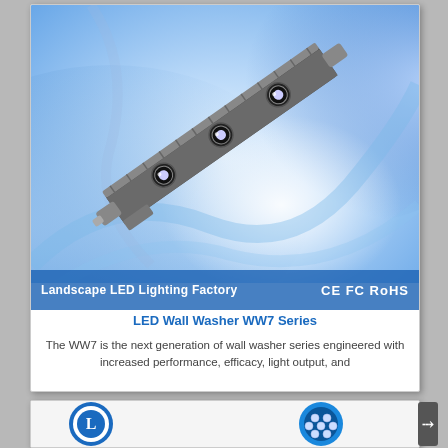[Figure (photo): LED Wall Washer WW7 Series product photo on a blue swirl background showing a silver elongated LED bar fixture with 3 large LED lenses]
Landscape LED Lighting Factory   CE FC RoHS
LED Wall Washer WW7 Series
The WW7 is the next generation of wall washer series engineered with increased performance, efficacy, light output, and
[Figure (photo): Partial view of second product card showing circular LED lighting products with blue circular logo on left and blue circular LED fixture on right]